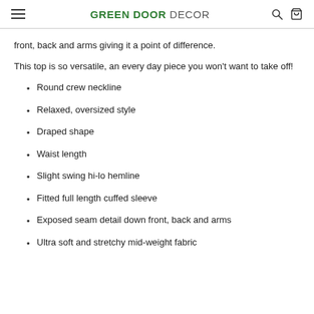GREEN DOOR DECOR
front, back and arms giving it a point of difference.
This top is so versatile, an every day piece you won't want to take off!
Round crew neckline
Relaxed, oversized style
Draped shape
Waist length
Slight swing hi-lo hemline
Fitted full length cuffed sleeve
Exposed seam detail down front, back and arms
Ultra soft and stretchy mid-weight fabric